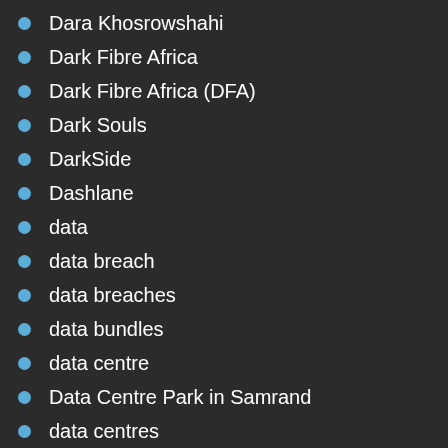Dara Khosrowshahi
Dark Fibre Africa
Dark Fibre Africa (DFA)
Dark Souls
DarkSide
Dashlane
data
data breach
data breaches
data bundles
data centre
Data Centre Park in Samrand
data centres
data corruption
data leak